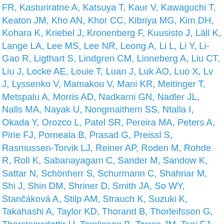FR, Kasturiratne A, Katsuya T, Kaur V, Kawaguchi T, Keaton JM, Kho AN, Khor CC, Kibriya MG, Kim DH, Kohara K, Kriebel J, Kronenberg F, Kuusisto J, Läll K, Lange LA, Lee MS, Lee NR, Leong A, Li L, Li Y, Li-Gao R, Ligthart S, Lindgren CM, Linneberg A, Liu CT, Liu J, Locke AE, Louie T, Luan J, Luk AO, Luo X, Lv J, Lyssenko V, Mamakou V, Mani KR, Meitinger T, Metspalu A, Morris AD, Nadkarni GN, Nadler JL, Nalls MA, Nayak U, Nongmaithem SS, Ntalla I, Okada Y, Orozco L, Patel SR, Pereira MA, Peters A, Pirie FJ, Porneala B, Prasad G, Preissl S, Rasmussen-Torvik LJ, Reiner AP, Roden M, Rohde R, Roll K, Sabanayagam C, Sander M, Sandow K, Sattar N, Schönherr S, Schurmann C, Shahriar M, Shi J, Shin DM, Shriner D, Smith JA, So WY, Stančáková A, Stilp AM, Strauch K, Suzuki K, Takahashi A, Taylor KD, Thorand B, Thorleifsson G, Thorsteinsdottir U, Tomlinson B, Torres JM, Tsai FJ, Tuomilehto J, Tusie-Luna T, Udler MS, Valladares-Salgado A, van Dam RM, van Klinken JB, Varma R, Vujkovic M, Wacher-Rodarte N, Wheeler E, Whitsel EA, Wickremasinghe AR, van Dijk KW, Witte DR, Yajnik CS, Yamamoto K, Yamauchi T, Yengo L, Yoon K, Yu G, Yuan JM, Yusuf S, Zhang L, Zhang W, FinnGen